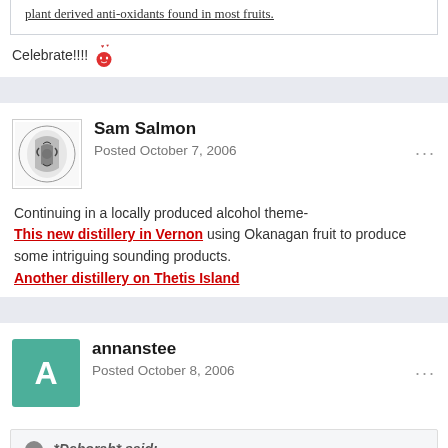plant derived anti-oxidants found in most fruits.
Celebrate!!!!
Sam Salmon
Posted October 7, 2006
Continuing in a locally produced alcohol theme-
This new distillery in Vernon using Okanagan fruit to produce some intriguing sounding products.
Another distillery on Thetis Island
annanstee
Posted October 8, 2006
*Deborah* said: